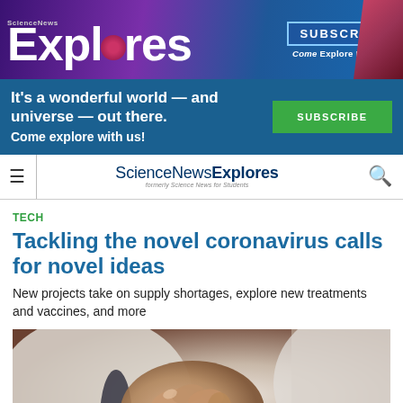[Figure (photo): Science News Explores banner with purple/blue gradient background, large white 'Explores' logo text, SUBSCRIBE button, and 'Come Explore With Us!' tagline with magazine image on right]
[Figure (screenshot): Dark blue promotional bar: 'It's a wonderful world — and universe — out there. Come explore with us!' with green SUBSCRIBE button]
ScienceNewsExplores (formerly Science News for Students)
TECH
Tackling the novel coronavirus calls for novel ideas
New projects take on supply shortages, explore new treatments and vaccines, and more
[Figure (photo): Close-up photo of elderly person's hands, person wearing white coat and dark tie in background, blurred background]